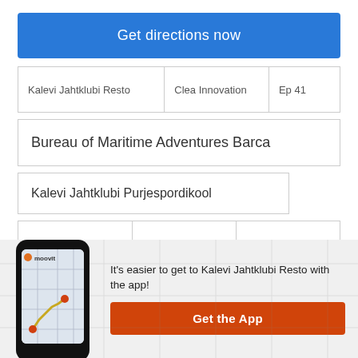Get directions now
Kalevi Jahtklubi Resto | Clea Innovation | Ep 41
Bureau of Maritime Adventures Barca
Kalevi Jahtklubi Purjespordikool
Purjetamiskoolitus
Kalevi Jahtklubi
Pirita Sild
Boat Trips in Tallinn
It's easier to get to Kalevi Jahtklubi Resto with the app!
Get the App